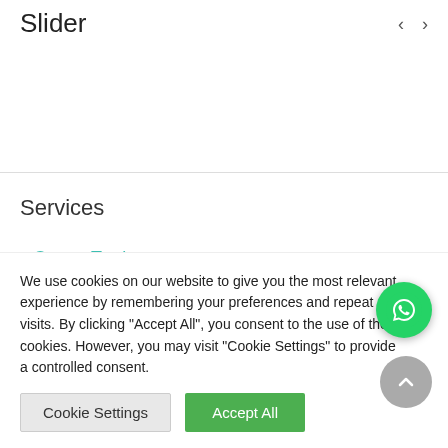Slider
Services
> Ocean Turtle
We use cookies on our website to give you the most relevant experience by remembering your preferences and repeat visits. By clicking "Accept All", you consent to the use of the cookies. However, you may visit "Cookie Settings" to provide a controlled consent.
Cookie Settings | Accept All